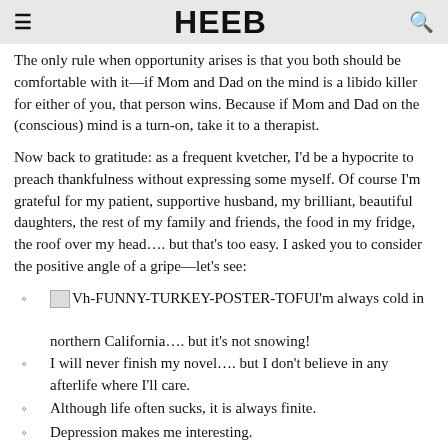≡  HEEB  🔍
The only rule when opportunity arises is that you both should be comfortable with it—if Mom and Dad on the mind is a libido killer for either of you, that person wins. Because if Mom and Dad on the (conscious) mind is a turn-on, take it to a therapist.
Now back to gratitude: as a frequent kvetcher, I'd be a hypocrite to preach thankfulness without expressing some myself. Of course I'm grateful for my patient, supportive husband, my brilliant, beautiful daughters, the rest of my family and friends, the food in my fridge, the roof over my head…. but that's too easy. I asked you to consider the positive angle of a gripe—let's see:
[img]I'm always cold in

northern California…. but it's not snowing!
I will never finish my novel…. but I don't believe in any afterlife where I'll care.
Although life often sucks, it is always finite.
Depression makes me interesting.
ADHD prevents me from wasting hours watching TV.